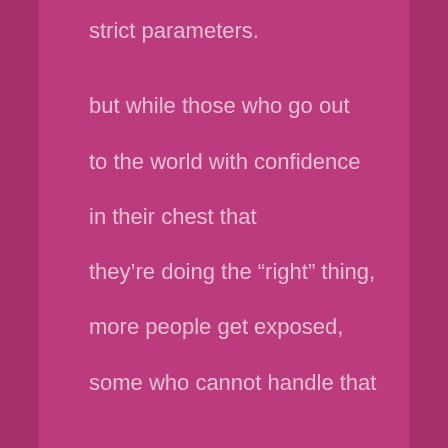strict parameters.
but while those who go out
to the world with confidence
in their chest that
they’re doing the “right” thing,
more people get exposed,
some who cannot handle that